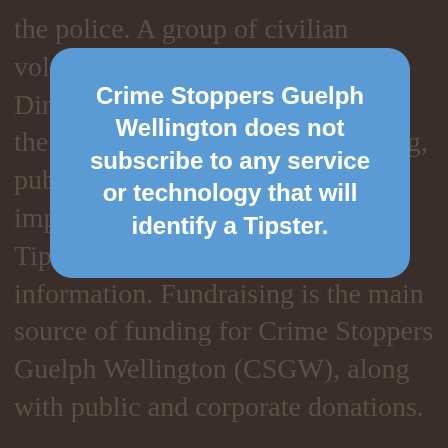the police. A group of civilian volunteers form the Board of Directors and are responsible for all the decisions, programs, fundraising, public awareness, and more. Most importantly, the funds pay our Tipsters for their valuable information. Fundraising is the main source of funding for Crime Stoppers Guelph Wellington (CSGW), along with public and corporate donations.
[Figure (infographic): Blue rounded rectangle modal overlay with bold white text: Crime Stoppers Guelph Wellington does not subscribe to any service or technology that will identify a Tipster.]